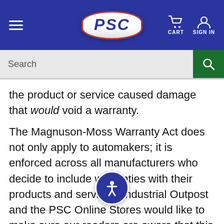[Figure (screenshot): PSC website header with hamburger menu, PSC logo in oval badge, cart icon and sign in icon on dark blue background]
[Figure (screenshot): Search bar with text input field and green search button with magnifying glass icon]
the product or service caused damage that would void a warranty.
The Magnuson-Moss Warranty Act does not only apply to automakers; it is enforced across all manufacturers who decide to include warranties with their products and services. Industrial Outpost and the PSC Online Stores would like to make sure our readers are aware that this type of practice is against the law, and manufacturers are still obligated to honor warranties even if you don't use their branded